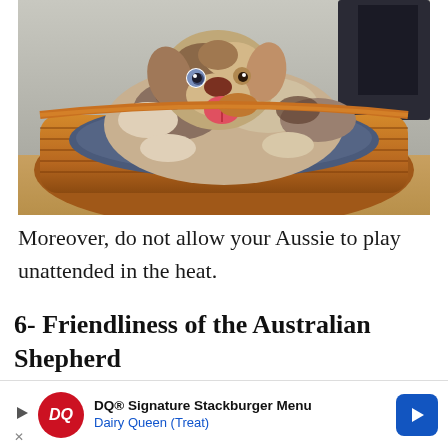[Figure (photo): An Australian Shepherd dog with merle coat lying in a wicker basket dog bed with a blue cushion, mouth open and tongue out, looking at camera.]
Moreover, do not allow your Aussie to play unattended in the heat.
6- Friendliness of the Australian Shepherd
The breed is good-natured but can be reserved and
[Figure (other): Advertisement banner: DQ Signature Stackburger Menu - Dairy Queen (Treat) with Dairy Queen logo and blue arrow icon]